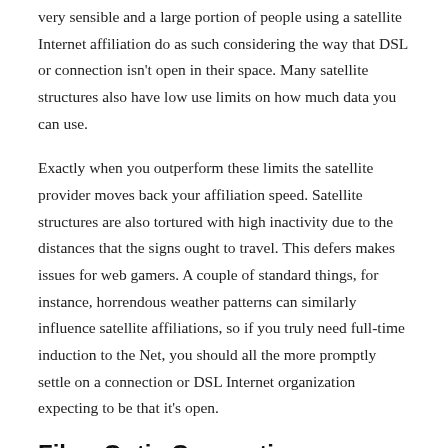very sensible and a large portion of people using a satellite Internet affiliation do as such considering the way that DSL or connection isn't open in their space. Many satellite structures also have low use limits on how much data you can use.
Exactly when you outperform these limits the satellite provider moves back your affiliation speed. Satellite structures are also tortured with high inactivity due to the distances that the signs ought to travel. This defers makes issues for web gamers. A couple of standard things, for instance, horrendous weather patterns can similarly influence satellite affiliations, so if you truly need full-time induction to the Net, you should all the more promptly settle on a connection or DSL Internet organization expecting to be that it's open.
Fiber Optic Connection
To battle the computerized Internet speeds and connection